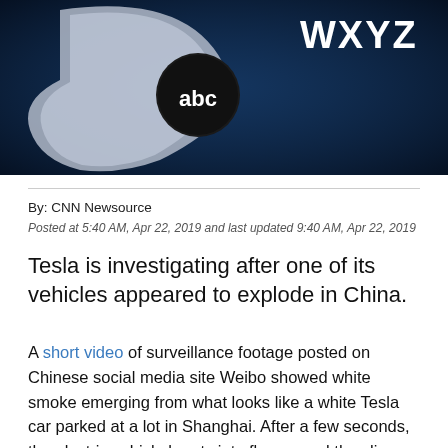[Figure (screenshot): ABC WXYZ news station logo on a dark blue background with silver and white ABC logo letters and 'WXYZ' text visible in the upper right]
By: CNN Newsource
Posted at 5:40 AM, Apr 22, 2019 and last updated 9:40 AM, Apr 22, 2019
Tesla is investigating after one of its vehicles appeared to explode in China.
A short video of surveillance footage posted on Chinese social media site Weibo showed white smoke emerging from what looks like a white Tesla car parked at a lot in Shanghai. After a few seconds, the electric vehicle bursts into flames and the clip ends soon afterward.